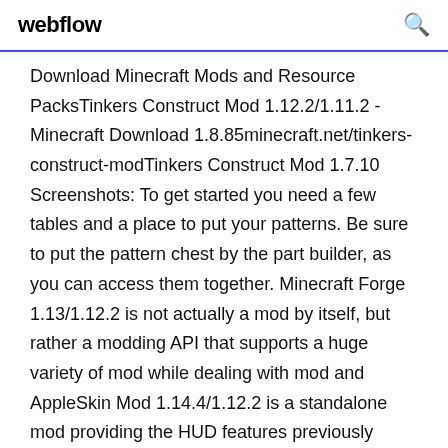webflow
Download Minecraft Mods and Resource PacksTinkers Construct Mod 1.12.2/1.11.2 - Minecraft Download 1.8.85minecraft.net/tinkers-construct-modTinkers Construct Mod 1.7.10 Screenshots: To get started you need a few tables and a place to put your patterns. Be sure to put the pattern chest by the part builder, as you can access them together. Minecraft Forge 1.13/1.12.2 is not actually a mod by itself, but rather a modding API that supports a huge variety of mod while dealing with mod and AppleSkin Mod 1.14.4/1.12.2 is a standalone mod providing the HUD features previously included in AppleCore. This is a mostly client-side mod.